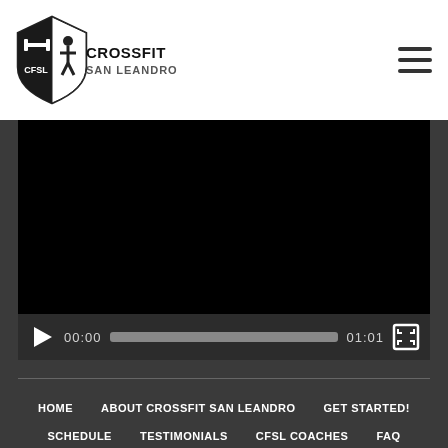CrossFit San Leandro
[Figure (screenshot): Video player showing a black video frame with playback controls: play button, time 00:00, progress bar, duration 01:01, and fullscreen button]
HOME
ABOUT CROSSFIT SAN LEANDRO
GET STARTED!
SCHEDULE
TESTIMONIALS
CFSL COACHES
FAQ
BLOG
CONTACT